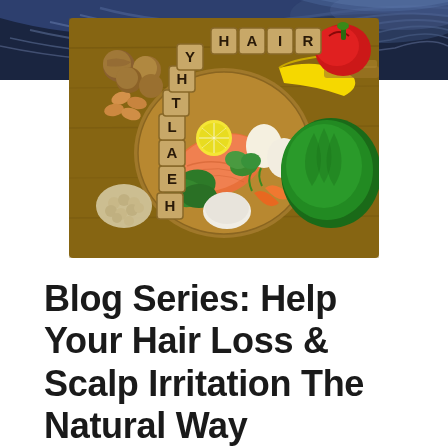[Figure (photo): Top decorative banner with dark blue and grey diagonal swoosh/wave lines on a dark background, positioned in the upper-right area of the page.]
[Figure (photo): Overhead food photo on a wooden board featuring salmon, eggs, lemon, leafy greens, carrots, cheese, almonds, walnuts, chickpeas, red bell pepper, banana, kale, and wooden letter tiles spelling out 'HEALTHY HAIR'.]
Blog Series: Help Your Hair Loss & Scalp Irritation The Natural Way